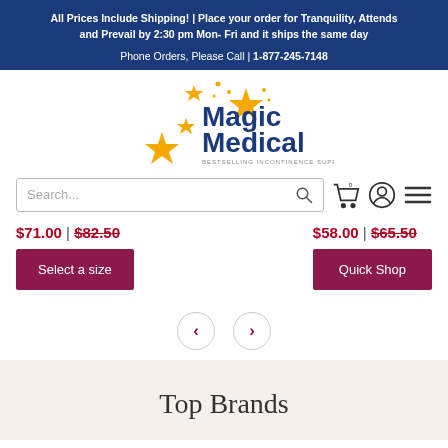All Prices Include Shipping! | Place your order for Tranquility, Attends and Prevail by 2:30 pm Mon- Fri and it ships the same day
Phone Orders, Please Call | 1-877-245-7148
[Figure (logo): Magic Medical logo with stars — BESTSELLING INCONTINENCE SUPPLIER]
Search...
$71.00 | $82.50
$58.00 | $65.50
Select a size
Quick Shop
‹ ›
Top Brands